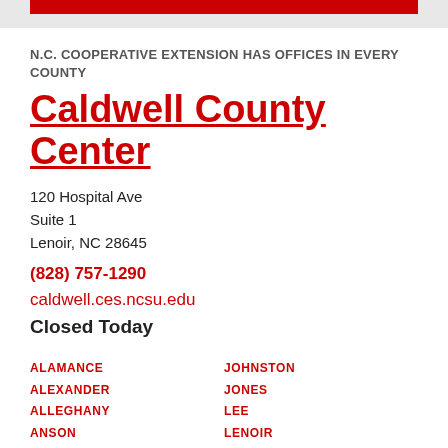N.C. COOPERATIVE EXTENSION HAS OFFICES IN EVERY COUNTY
Caldwell County Center
120 Hospital Ave
Suite 1
Lenoir, NC 28645
(828) 757-1290
caldwell.ces.ncsu.edu
Closed Today
ALAMANCE
ALEXANDER
ALLEGHANY
ANSON
ASHE
JOHNSTON
JONES
LEE
LENOIR
LINCOLN